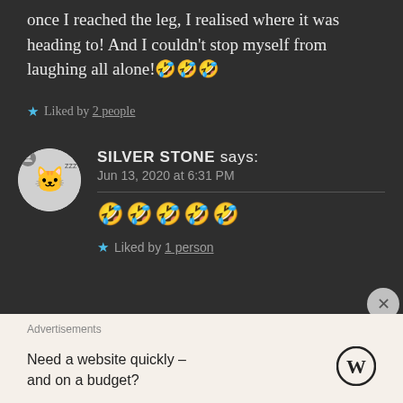once I reached the leg, I realised where it was heading to! And I couldn't stop myself from laughing all alone!🤣🤣🤣
★ Liked by 2 people
SILVER STONE says: Jun 13, 2020 at 6:31 PM
🤣🤣🤣🤣🤣
★ Liked by 1 person
Advertisements
Need a website quickly – and on a budget?